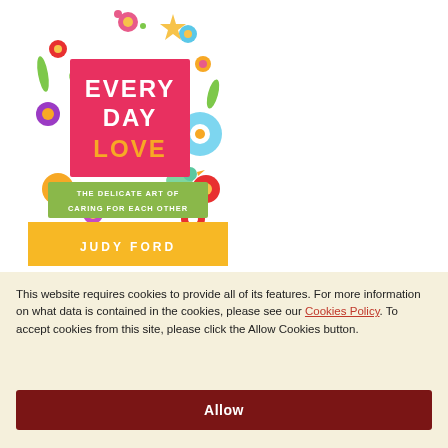[Figure (illustration): Book cover of 'Every Day Love: The Delicate Art of Caring for Each Other' by Judy Ford. Features a colorful floral pattern background with birds, a large pink/red rectangle with white text 'EVERY DAY LOVE', a green band with white text 'THE DELICATE ART OF CARING FOR EACH OTHER', and a yellow/orange bottom band with 'JUDY FORD'.]
This website requires cookies to provide all of its features. For more information on what data is contained in the cookies, please see our Cookies Policy. To accept cookies from this site, please click the Allow Cookies button.
Allow